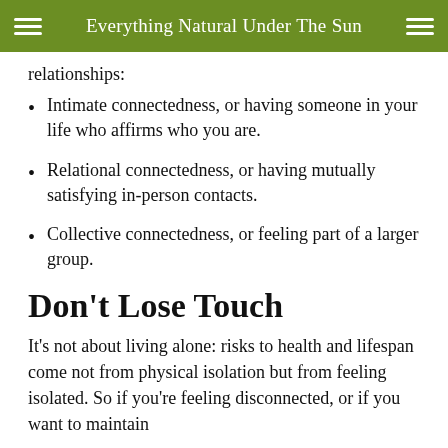Everything Natural Under The Sun
relationships:
Intimate connectedness, or having someone in your life who affirms who you are.
Relational connectedness, or having mutually satisfying in-person contacts.
Collective connectedness, or feeling part of a larger group.
Don't Lose Touch
It's not about living alone: risks to health and lifespan come not from physical isolation but from feeling isolated. So if you're feeling disconnected, or if you want to maintain connections, you can consider a few